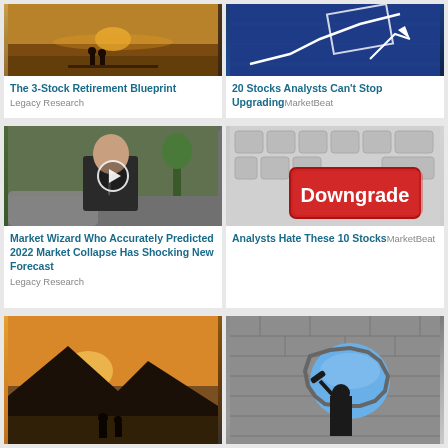[Figure (photo): Two people sitting on a dock at sunset by a lake, viewed from behind]
The 3-Stock Retirement Blueprint
Legacy Research
[Figure (photo): Blue toned financial chart with rising graph and glowing white arrow/box overlay]
20 Stocks Analysts Can't Stop Upgrading
MarketBeat
[Figure (photo): Man in dark suit sitting indoors with play button overlay, video thumbnail]
Market Wizard Who Accurately Predicted 2022 Market Collapse Has Shocking New Forecast
Legacy Research
[Figure (photo): Red keyboard button labeled Downgrade on laptop keyboard]
Analysts Hate These 10 Stocks
MarketBeat
[Figure (photo): Two people sitting near water with mountain silhouette at golden hour]
[Figure (photo): Businessman in suit breaking through brick wall with sledgehammer, revealing blue sky]